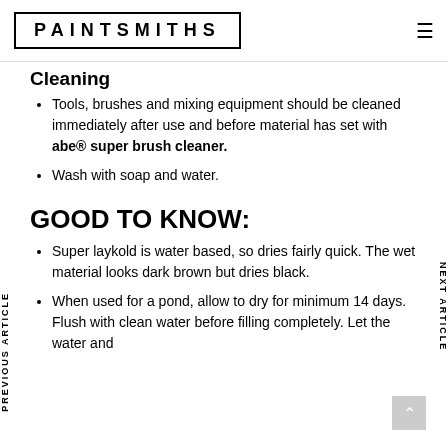PAINTSMITHS
Cleaning
Tools, brushes and mixing equipment should be cleaned immediately after use and before material has set with abe® super brush cleaner.
Wash with soap and water.
GOOD TO KNOW:
Super laykold is water based, so dries fairly quick. The wet material looks dark brown but dries black.
When used for a pond, allow to dry for minimum 14 days. Flush with clean water before filling completely. Let the water and
PREVIOUS ARTICLE
NEXT ARTICLE